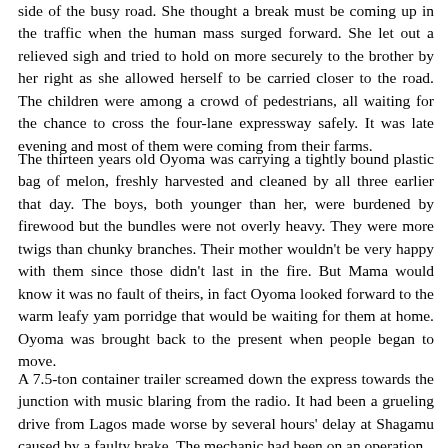side of the busy road. She thought a break must be coming up in the traffic when the human mass surged forward. She let out a relieved sigh and tried to hold on more securely to the brother by her right as she allowed herself to be carried closer to the road. The children were among a crowd of pedestrians, all waiting for the chance to cross the four-lane expressway safely. It was late evening and most of them were coming from their farms.
The thirteen years old Oyoma was carrying a tightly bound plastic bag of melon, freshly harvested and cleaned by all three earlier that day. The boys, both younger than her, were burdened by firewood but the bundles were not overly heavy. They were more twigs than chunky branches. Their mother wouldn't be very happy with them since those didn't last in the fire. But Mama would know it was no fault of theirs, in fact Oyoma looked forward to the warm leafy yam porridge that would be waiting for them at home. Oyoma was brought back to the present when people began to move.
A 7.5-ton container trailer screamed down the express towards the junction with music blaring from the radio. It had been a grueling drive from Lagos made worse by several hours' delay at Shagamu caused by a faulty brake. The mechanic had been on an operation...